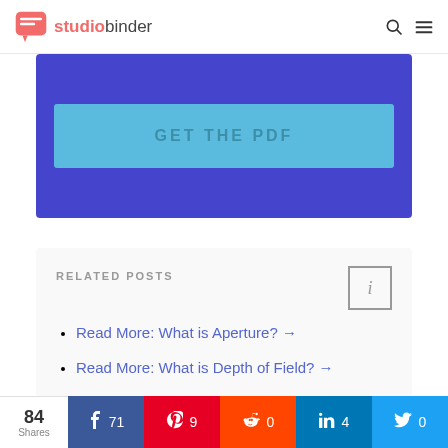studiobinder
[Figure (screenshot): Blue banner with GET THE PDF button]
RELATED POSTS
Read More: What is Aperture? →
Read More: What is Depth of Field? →
Learn More: Getting Comfortable with
84 Shares | 71 Facebook | 9 Pinterest | 0 Reddit | 4 LinkedIn | 0 Twitter